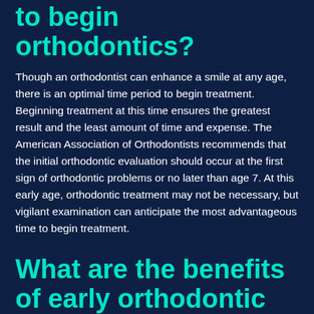to begin orthodontics?
Though an orthodontist can enhance a smile at any age, there is an optimal time period to begin treatment. Beginning treatment at this time ensures the greatest result and the least amount of time and expense. The American Association of Orthodontists recommends that the initial orthodontic evaluation should occur at the first sign of orthodontic problems or no later than age 7. At this early age, orthodontic treatment may not be necessary, but vigilant examination can anticipate the most advantageous time to begin treatment.
What are the benefits of early orthodontic evaluation?